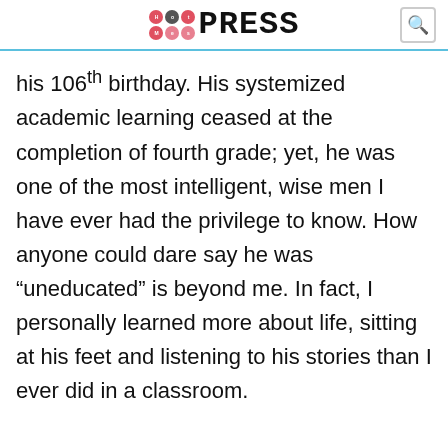HotMessPress
his 106th birthday. His systemized academic learning ceased at the completion of fourth grade; yet, he was one of the most intelligent, wise men I have ever had the privilege to know. How anyone could dare say he was “uneducated” is beyond me. In fact, I personally learned more about life, sitting at his feet and listening to his stories than I ever did in a classroom.